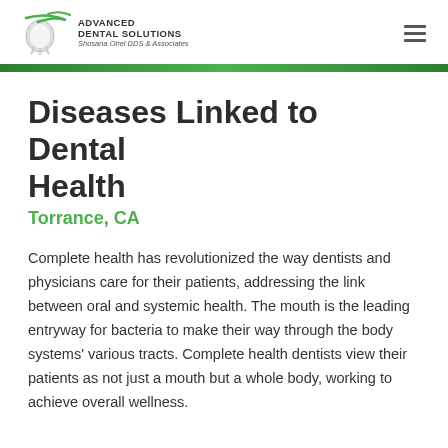[Figure (logo): Advanced Dental Solutions logo with tooth icon and green swoosh, text reading ADVANCED DENTAL SOLUTIONS, Shosana Ohel DDS & Associates]
Diseases Linked to Dental Health
Torrance, CA
Complete health has revolutionized the way dentists and physicians care for their patients, addressing the link between oral and systemic health. The mouth is the leading entryway for bacteria to make their way through the body systems' various tracts. Complete health dentists view their patients as not just a mouth but a whole body, working to achieve overall wellness.